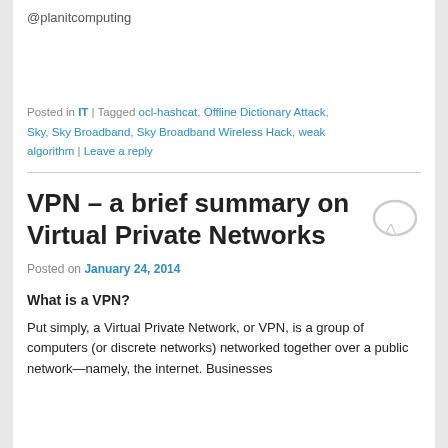@planitcomputing
Posted in IT | Tagged ocl-hashcat, Offline Dictionary Attack, Sky, Sky Broadband, Sky Broadband Wireless Hack, weak algorithm | Leave a reply
VPN – a brief summary on Virtual Private Networks
Posted on January 24, 2014
What is a VPN?
Put simply, a Virtual Private Network, or VPN, is a group of computers (or discrete networks) networked together over a public network—namely, the internet. Businesses